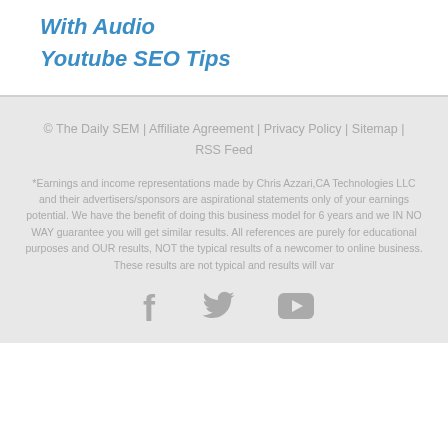With Audio
Youtube SEO Tips
© The Daily SEM | Affiliate Agreement | Privacy Policy | Sitemap | RSS Feed
*Earnings and income representations made by Chris Azzari,CA Technologies LLC and their advertisers/sponsors are aspirational statements only of your earnings potential. We have the benefit of doing this business model for 6 years and we IN NO WAY guarantee you will get similar results. All references are purely for educational purposes and OUR results, NOT the typical results of a newcomer to online business. These results are not typical and results will var
[Figure (illustration): Social media icons: Facebook, Twitter, YouTube in gray]